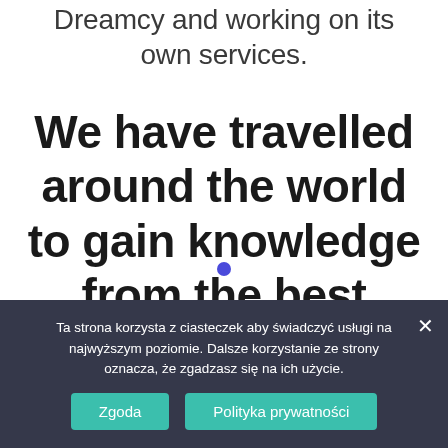Dreamcy and working on its own services.
We have travelled around the world to gain knowledge from the best specialists in the world.
Ta strona korzysta z ciasteczek aby świadczyć usługi na najwyższym poziomie. Dalsze korzystanie ze strony oznacza, że zgadzasz się na ich użycie.